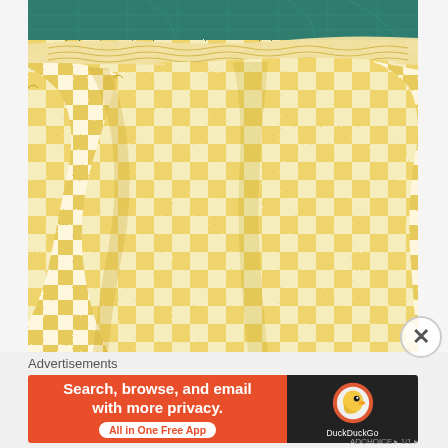[Figure (photo): Close-up photo of yellow and white gingham check fabric gathered with elastic at the top, creating ruffled pleats. The fabric appears to be a skirt or ruffle trim. A teal/green cutting mat is visible in the background at the top.]
Advertisements
[Figure (screenshot): Advertisement banner for DuckDuckGo app. Left side has orange/red background with text 'Search, browse, and email with more privacy. All in One Free App'. Right side has dark background with DuckDuckGo duck logo and brand name.]